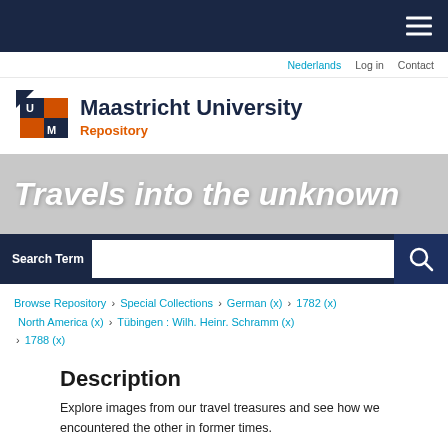Maastricht University Repository
Nederlands · Log in · Contact
Travels into the unknown
Search Term
Browse Repository › Special Collections › German (x) › 1782 (x) › North America (x) › Tübingen : Wilh. Heinr. Schramm (x) › 1788 (x)
Description
Explore images from our travel treasures and see how we encountered the other in former times.